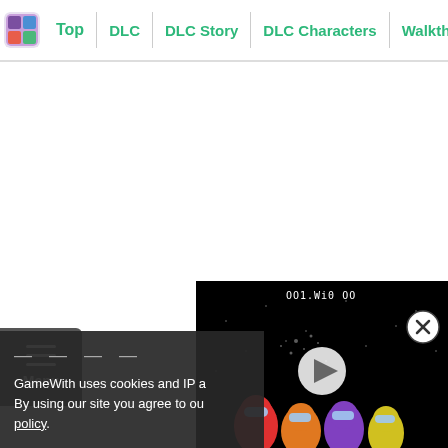Top | DLC | DLC Story | DLC Characters | Walkthrough
[Figure (screenshot): White blank content area]
[Figure (screenshot): Menu button with three horizontal lines and 'Menu' text on dark grey background]
[Figure (screenshot): Video player showing game footage with play button overlay, showing characters from Among Us style game]
[Figure (screenshot): Close (X) button circle in upper right of video]
GameWith uses cookies and IP a... By using our site you agree to ou... policy.